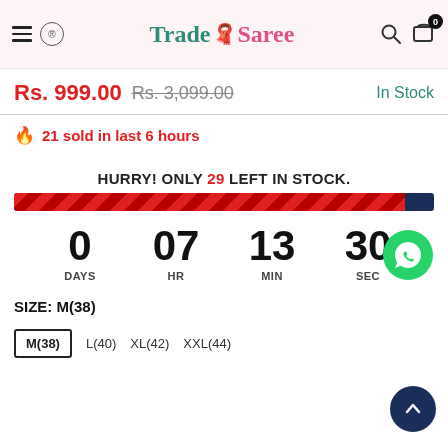TradeSaree
Rs. 999.00  Rs. 3,099.00  In Stock
21 sold in last 6 hours
HURRY! ONLY 29 LEFT IN STOCK.
[Figure (infographic): Stock bar showing approximately 93% sold (red striped) and 7% remaining (dark blue)]
0 DAYS  07 HR  13 MIN  30 SEC
SIZE: M(38)
M(38)  L(40)  XL(42)  XXL(44)